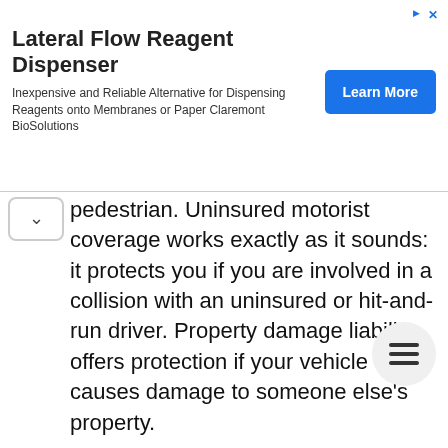[Figure (other): Advertisement banner for Lateral Flow Reagent Dispenser by Claremont BioSolutions with a blue Learn More button]
pedestrian. Uninsured motorist coverage works exactly as it sounds: it protects you if you are involved in a collision with an uninsured or hit-and-run driver. Property damage liability offers protection if your vehicle causes damage to someone else's property.
Most auto insurance policies today are known as standard policies. Standard auto insurance assesses damages based on who is determined to be at fault. No fault insurance, which is rare, provides equal coverage to motorists independent of who is at fault.